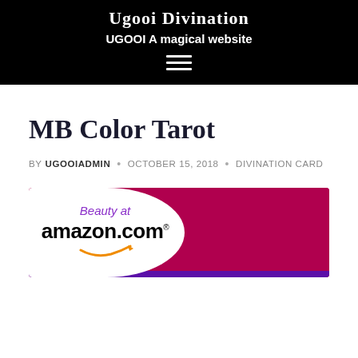Ugooi Divination
UGOOI A magical website
MB Color Tarot
BY UGOOIADMIN • OCTOBER 15, 2018 • DIVINATION CARD
[Figure (advertisement): Amazon.com Beauty advertisement banner with white rounded left section showing 'Beauty at amazon.com' text with arrow logo, and crimson/magenta right section]